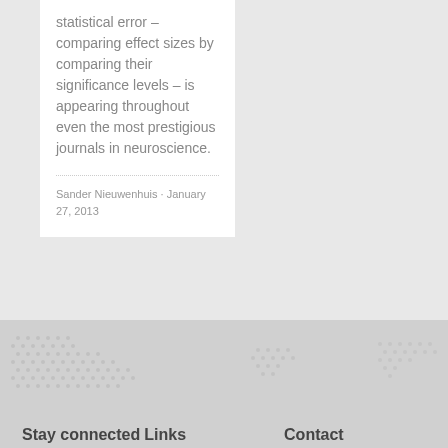statistical error – comparing effect sizes by comparing their significance levels – is appearing throughout even the most prestigious journals in neuroscience.
Sander Nieuwenhuis · January 27, 2013
Stay connected   Links   Contact